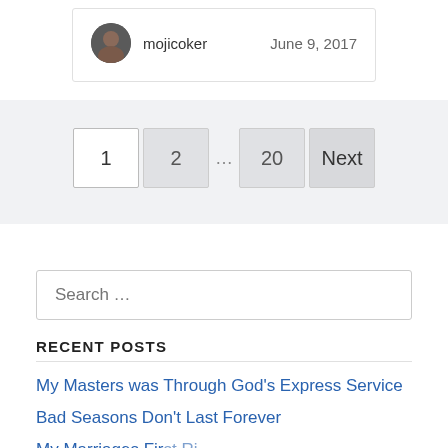mojicoker    June 9, 2017
1  2  …  20  Next
Search …
RECENT POSTS
My Masters was Through God's Express Service
Bad Seasons Don't Last Forever
My Marriages First Right…